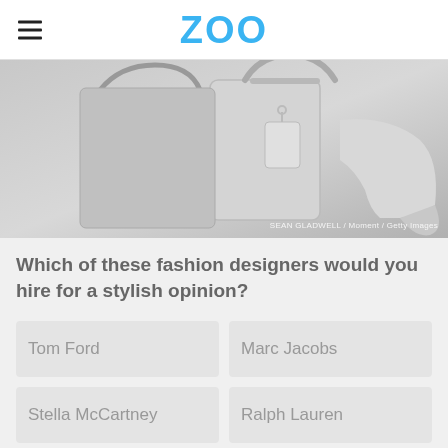ZOO
[Figure (photo): Grayscale close-up photo of fashion accessories including a handbag with tag and a high-heel shoe. Credit: SEAN GLADWELL / Moment / Getty Images]
Which of these fashion designers would you hire for a stylish opinion?
Tom Ford
Marc Jacobs
Stella McCartney
Ralph Lauren